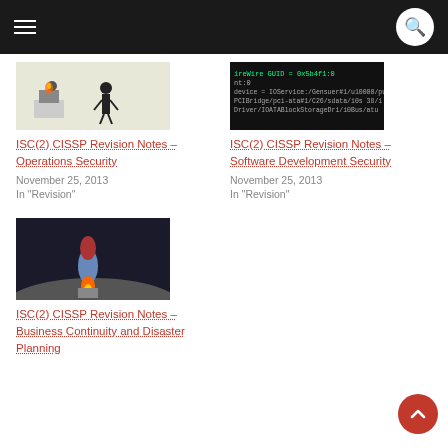Navigation menu and search button
[Figure (illustration): Cartoon illustration of a person at a burning computer monitor, with a standing figure pointing at it]
ISC(2) CISSP Revision Notes – Operations Security
November 25, 2013
In "Revision"
[Figure (screenshot): Dark terminal/console screenshot showing device and driver configuration text including ireWire GUID, IOService paths]
ISC(2) CISSP Revision Notes – Software Development Security
November 25, 2013
In "Revision"
[Figure (illustration): Illustration of a rocket launching from a dark moon surface with flames]
ISC(2) CISSP Revision Notes – Business Continuity and Disaster Planning